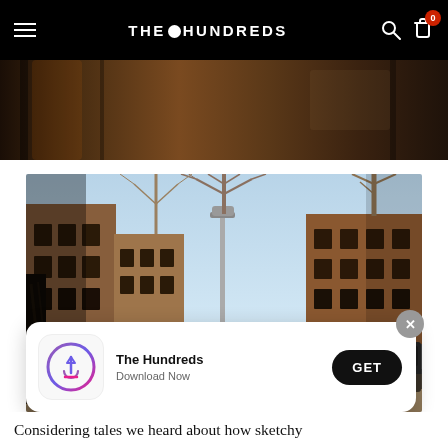THE HUNDREDS
[Figure (photo): Partial top strip showing a warm-toned interior/exterior photo, top of a previous image]
[Figure (photo): Street scene showing a Brooklyn-style neighborhood with brownstone buildings, bare winter trees lining a sidewalk, parked cars, and a lamp post on a clear day]
[Figure (screenshot): App download banner: The Hundreds app icon (App Store logo style), name 'The Hundreds', subtitle 'Download Now', and a black GET button. Close X button in top right.]
Considering tales we heard about how sketchy